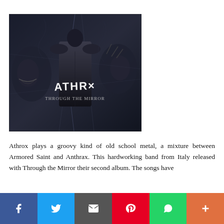[Figure (photo): Album cover art for Athrox 'Through the Mirror' - dark fantasy/metal artwork showing a figure in a black jacket seen from behind, surrounded by monster faces in a shattered mirror style, with the band name ATHRX and album title 'Through the Mirror' in metal lettering]
Athrox plays a groovy kind of old school metal, a mixture between Armored Saint and Anthrax. This hardworking band from Italy released with Through the Mirror their second album. The songs have